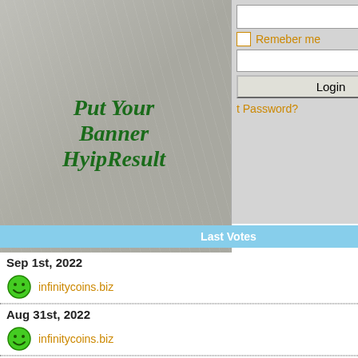[Figure (screenshot): HyipResult banner with marble background showing 'Put Your Banner HyipResult' in green cursive font, top-left]
[Figure (screenshot): Login form with Remember me checkbox, Login button, and Forgot Password link]
[Figure (screenshot): CryptoCoins website header with 'cryptocoins' tab and AHM payment icons]
[Figure (screenshot): HyipResult banner top-right duplicate]
Last Votes
Sep 1st, 2022 - infinitycoins.biz
Aug 31st, 2022 - infinitycoins.biz
Aug 30th, 2022 - infinitycoins.biz
8% Daily For 40 Days, 20% ... 150% After Days, 300% After 15 Days, 100%
Min/Max: 10$ Referral: 15% Withdrawal: I
CryptoCoins Fund Limited Is the fo... Currencies Exchange Mining and T... powerful computing system is optim... common decentralized crypto curre... dedicated to mining for Bitcoin, Eth... other high quality worldwide servic... and take a small part of our public... escrow service fees, trading earnin... watch your earning grows. The pri...
[Figure (screenshot): HyipResult banner bottom-left with marble background]